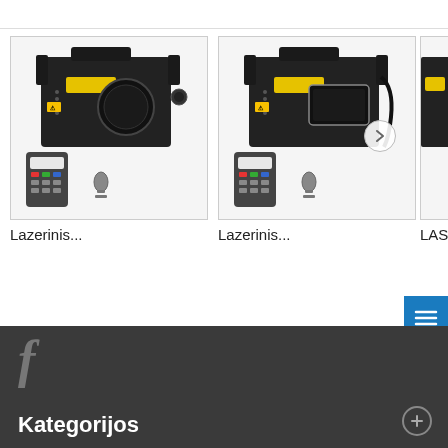[Figure (photo): Laser light projector device with remote control and keys - product photo 1]
Lazerinis...
[Figure (photo): Laser light projector device with remote control and keys - product photo 2]
Lazerinis...
[Figure (photo): Partially visible third product]
LAS
Kategorijos